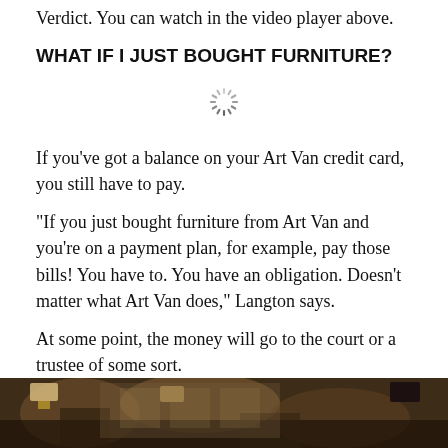Verdict. You can watch in the video player above.
WHAT IF I JUST BOUGHT FURNITURE?
[Figure (other): Loading spinner / buffering icon (circular dashed lines)]
If you've got a balance on your Art Van credit card, you still have to pay.
"If you just bought furniture from Art Van and you're on a payment plan, for example, pay those bills! You have to. You have an obligation. Doesn't matter what Art Van does," Langton says.
At some point, the money will go to the court or a trustee of some sort.
[Figure (photo): Interior photo of an Art Van furniture store showroom with lamps and furniture displays]